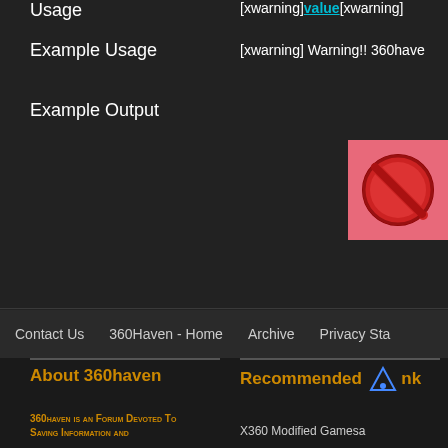Usage
Example Usage
Example Output
[xwarning]value[xwarning]
[xwarning] Warning!! 360have
[Figure (illustration): Red prohibition/no sign icon on pink/red background]
Contact Us   360Haven - Home   Archive   Privacy Sta
[Figure (logo): 360 chrome metallic logo with reflection on dark background with decorative dragon/tribal watermark]
About 360haven
Recommended Links
360HAVEN IS AN FORUM DEVOTED TO SAVING INFORMATION AND
X360 Modified Gamesa